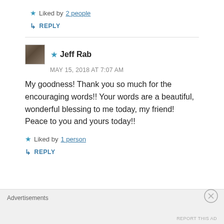★ Liked by 2 people
↳ REPLY
★ Jeff Rab
MAY 15, 2018 AT 7:07 AM
My goodness! Thank you so much for the encouraging words!! Your words are a beautiful, wonderful blessing to me today, my friend! Peace to you and yours today!!
★ Liked by 1 person
↳ REPLY
Advertisements